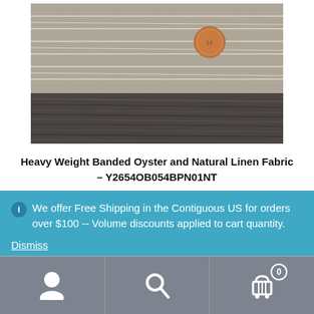[Figure (photo): Close-up photo of heavy weight banded oyster and natural linen fabric with white pin stripes, showing raw edge, with a penny for scale. Fabric rests on a dark wood surface.]
Heavy Weight Banded Oyster and Natural Linen Fabric – Y2654OB054BPN01NT
We offer Free Shipping in the Contiguous US for orders over $100 -- Volume discounts applied to cart quantity.
Dismiss